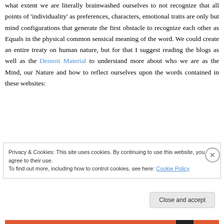what extent we are literally brainwashed ourselves to not recognize that all points of 'individuality' as preferences, characters, emotional traits are only but mind configurations that generate the first obstacle to recognize each other as Equals in the physical common sensical meaning of the word. We could create an entire treaty on human nature, but for that I suggest reading the blogs as well as the Desteni Material to understand more about who we are as the Mind, our Nature and how to reflect ourselves upon the words contained in these websites:
Privacy & Cookies: This site uses cookies. By continuing to use this website, you agree to their use.
To find out more, including how to control cookies, see here: Cookie Policy
Close and accept